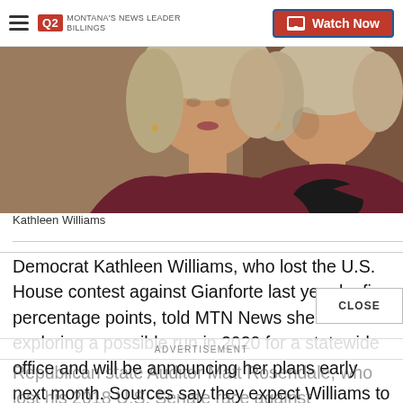Q2 MONTANA'S NEWS LEADER | Watch Now
[Figure (photo): Close-up photo of Kathleen Williams, a woman with short blonde-gray hair wearing a dark maroon blazer, photographed from shoulders up against a warm brown background]
Kathleen Williams
Democrat Kathleen Williams, who lost the U.S. House contest against Gianforte last year by five percentage points, told MTN News she’s been exploring a possible run in 2020 for a statewide office and will be announcing her plans early next month. Sources say they expect Williams to run again for the U.S. Hou
Republican state Auditor Matt Rosendale, who lost his 2018 U.S. Senate race against Democratic Sen. Jon